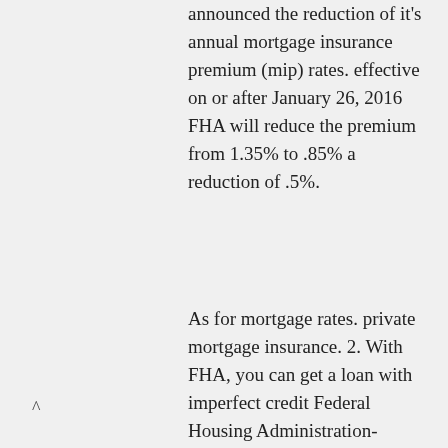announced the reduction of it's annual mortgage insurance premium (mip) rates. effective on or after January 26, 2016 FHA will reduce the premium from 1.35% to .85% a reduction of .5%.
As for mortgage rates. private mortgage insurance. 2. With FHA, you can get a loan with imperfect credit Federal Housing Administration-insured loans are appealing because they're widely available.
Types Of Fha Loans 203K Fha Home Purchase Requirements If you would like to purchase a home using a FHA loan, it is important to understand the property requirements that determine if a home is eligible to be financed using an fha